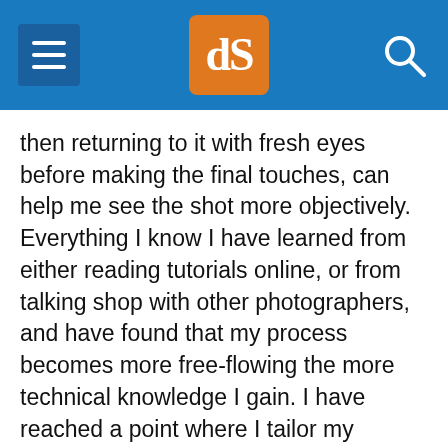dPS navigation header with menu, logo, and search
then returning to it with fresh eyes before making the final touches, can help me see the shot more objectively. Everything I know I have learned from either reading tutorials online, or from talking shop with other photographers, and have found that my process becomes more free-flowing the more technical knowledge I gain. I have reached a point where I tailor my workflow to the shot at hand.
View more of Anna Gav's photography on her